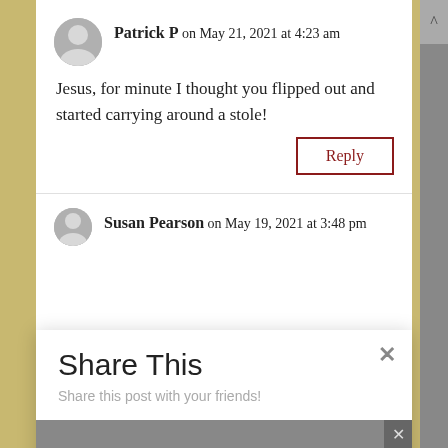Patrick P on May 21, 2021 at 4:23 am
Jesus, for minute I thought you flipped out and started carrying around a stole!
Reply
Susan Pearson on May 19, 2021 at 3:48 pm
Share This
Share this post with your friends!
https://www.facebook.com/waiter.rant
Twitter